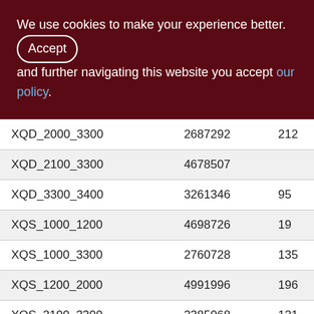We use cookies to make your experience better. By accepting and further navigating this website you accept our policy.
|  |  |  |
| --- | --- | --- |
| XQD_2000_3300 | 2687292 | 212... |
| XQD_2100_3300 | 4678507 |  |
| XQD_3300_3400 | 3261346 | 95... |
| XQS_1000_1200 | 4698726 | 19... |
| XQS_1000_3300 | 2760728 | 135... |
| XQS_1200_2000 | 4991996 | 196... |
| XQS_2100_3300 | 3385068 | 121... |
| XQS_3300_3400 | 570531 | 18... |